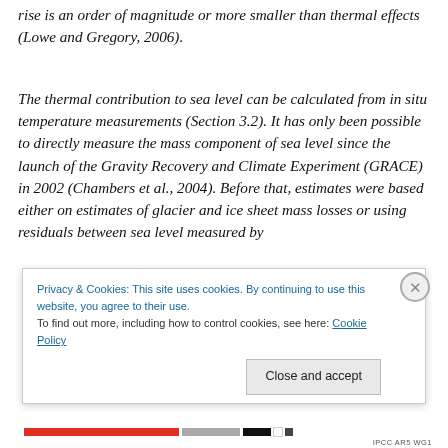rise is an order of magnitude or more smaller than thermal effects (Lowe and Gregory, 2006).
The thermal contribution to sea level can be calculated from in situ temperature measurements (Section 3.2). It has only been possible to directly measure the mass component of sea level since the launch of the Gravity Recovery and Climate Experiment (GRACE) in 2002 (Chambers et al., 2004). Before that, estimates were based either on estimates of glacier and ice sheet mass losses or using residuals between sea level measured by
Privacy & Cookies: This site uses cookies. By continuing to use this website, you agree to their use.
To find out more, including how to control cookies, see here: Cookie Policy
Close and accept
IPCC AR5 WG1